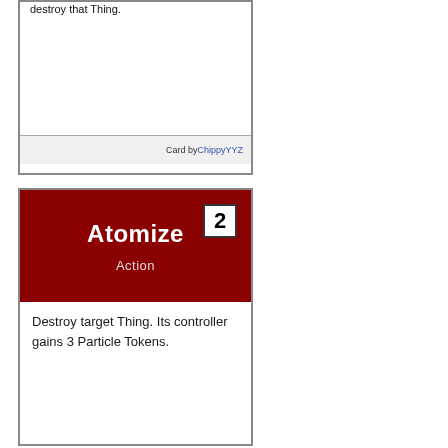destroy that Thing.
Card by ChippyYYZ
Atomize
Action
Destroy target Thing. Its controller gains 3 Particle Tokens.